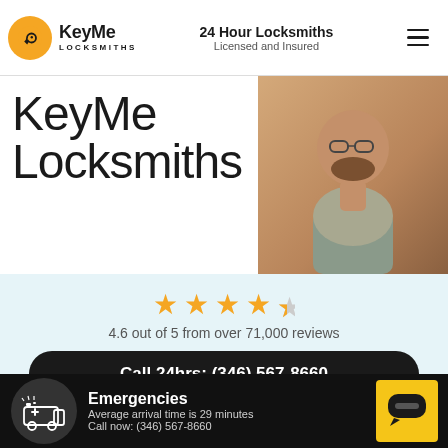KeyMe Locksmiths | 24 Hour Locksmiths Licensed and Insured
KeyMe Locksmiths
[Figure (photo): Photo of a man with glasses and beard working at a desk]
4.6 out of 5 from over 71,000 reviews
Call 24hrs: (346) 567-8660
Copying a Key? See the nearest kiosk below
Emergencies
Average arrival time is 29 minutes
Call now: (346) 567-8660
[Figure (illustration): Emergency ambulance/service vehicle icon in dark circle]
[Figure (illustration): Yellow chat/message button icon]